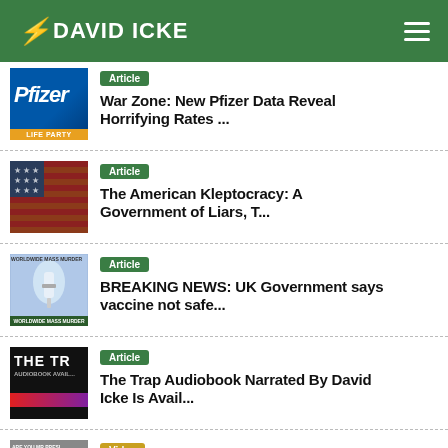DAVID ICKE
[Figure (screenshot): Pfizer logo thumbnail — blue background with white Pfizer text]
Article
War Zone: New Pfizer Data Reveal Horrifying Rates ...
[Figure (photo): Distressed American flag thumbnail]
Article
The American Kleptocracy: A Government of Liars, T...
[Figure (photo): Vaccine/medical gloved hands thumbnail]
Article
BREAKING NEWS: UK Government says vaccine not safe...
[Figure (photo): The Trap audiobook cover thumbnail]
Article
The Trap Audiobook Narrated By David Icke Is Avail...
[Figure (photo): Video thumbnail with person's face]
Video
The Dismantling of America: David ...